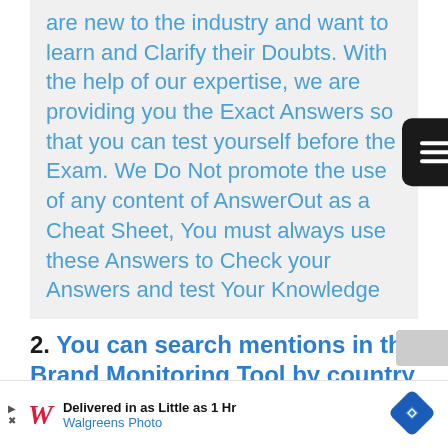are new to the industry and want to learn and Clarify their Doubts. With the help of our expertise, we are providing you the Exact Answers so that you can test yourself before the Exam. We Do Not promote the use of any content of AnswerOut as a Cheat Sheet, You must always use these Answers to Check your Answers and test Your Knowledge
2. You can search mentions in the Brand Monitoring Tool by country or language.
[Figure (screenshot): Advertisement banner for Walgreens Photo: 'Delivered in as Little as 1 Hr / Walgreens Photo' with Walgreens cursive logo and blue diamond navigation icon]